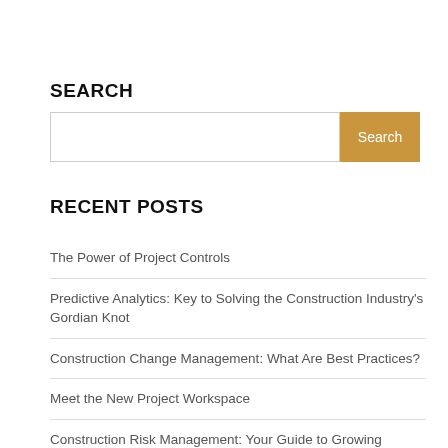SEARCH
[Search input box with Search button]
RECENT POSTS
The Power of Project Controls
Predictive Analytics: Key to Solving the Construction Industry's Gordian Knot
Construction Change Management: What Are Best Practices?
Meet the New Project Workspace
Construction Risk Management: Your Guide to Growing